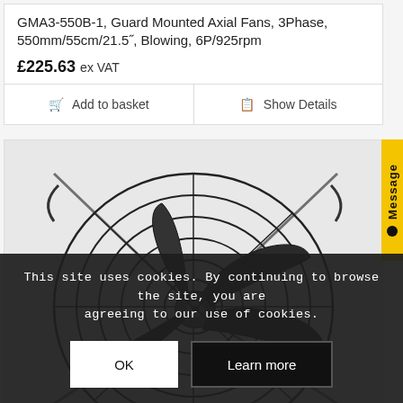GMA3-550B-1, Guard Mounted Axial Fans, 3Phase, 550mm/55cm/21.5″, Blowing, 6P/925rpm
£225.63 ex VAT
🛒 Add to basket
📋 Show Details
[Figure (photo): Black axial fan with guard mounted wire cage, showing fan blades and motor hub, photographed from front angle on light background]
Message
This site uses cookies. By continuing to browse the site, you are agreeing to our use of cookies.
OK
Learn more